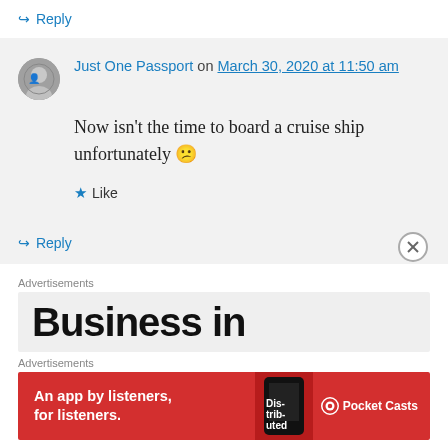↪ Reply
Just One Passport on March 30, 2020 at 11:50 am
Now isn't the time to board a cruise ship unfortunately 😕
★ Like
↪ Reply
Advertisements
[Figure (screenshot): Advertisement banner showing 'Business in' in large bold text on light gray background with close button]
Advertisements
[Figure (screenshot): Red Pocket Casts advertisement banner: 'An app by listeners, for listeners.' with phone image and Pocket Casts logo]